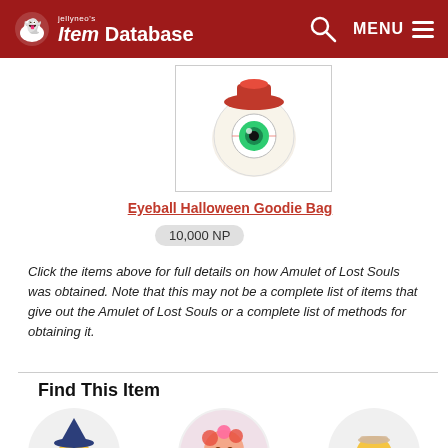jellyneo's Item Database MENU
[Figure (illustration): Eyeball with red hat Halloween themed item image]
Eyeball Halloween Goodie Bag
10,000 NP
Click the items above for full details on how Amulet of Lost Souls was obtained. Note that this may not be a complete list of items that give out the Amulet of Lost Souls or a complete list of methods for obtaining it.
Find This Item
[Figure (illustration): Shop Wizard character - yellow creature with blue wizard hat]
Shop Wizard ★
[Figure (illustration): Trading Post character - female character with flowers]
Trading Post ★
[Figure (illustration): Auction House character - yellow creature with accessories]
Auction House ★
[Figure (illustration): Official Neopian Shop character - orange creature with cards]
Official Neopian Shop ★
[Figure (illustration): Safety Deposit Box character - green creature in suit]
Safety Deposit Box ★
[Figure (illustration): Neopian Search character - blue creature]
Neopian Search ★